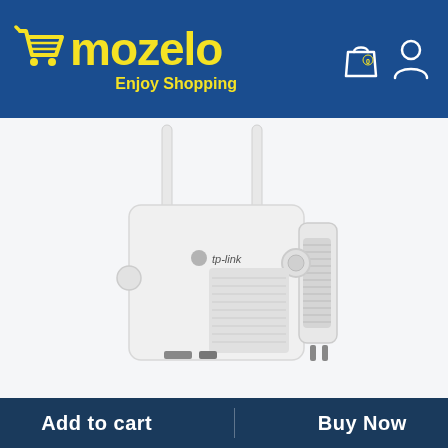[Figure (logo): Mozelo shopping website logo with yellow shopping cart icon and yellow text 'mozelo' with tagline 'Enjoy Shopping' on dark blue background, and header icons for cart and user profile on the right]
[Figure (photo): TP-Link WiFi range extender/repeater device in white with two antennas, showing the brand logo 'tp-link', ventilation grilles, and plug prongs, photographed on white background]
Add to cart
Buy Now